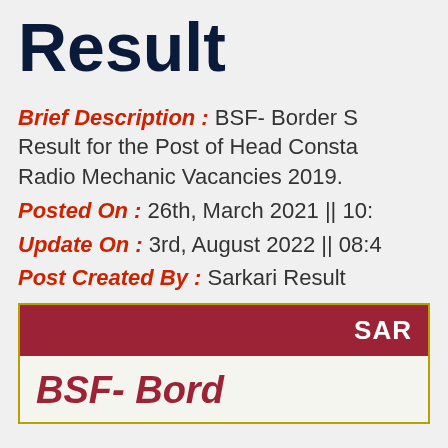Result
Brief Description : BSF- Border Security Force Has Published Result for the Post of Head Constable / Radio Mechanic Vacancies 2019.
Posted On : 26th, March 2021 || 10:
Update On : 3rd, August 2022 || 08:4
Post Created By : Sarkari Result
| SAR |
| --- |
| BSF- Bord |